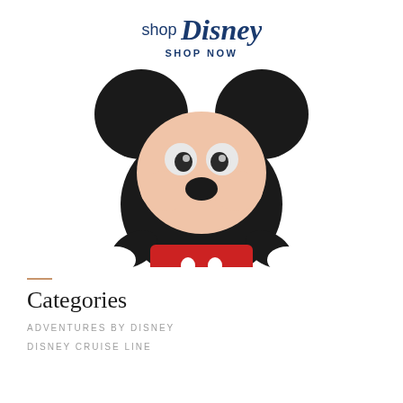shop Disney SHOP NOW
[Figure (photo): Mickey Mouse plush toy with black ears, black body, red shorts, white gloves, and peach face, shown from upper body]
Categories
ADVENTURES BY DISNEY
DISNEY CRUISE LINE